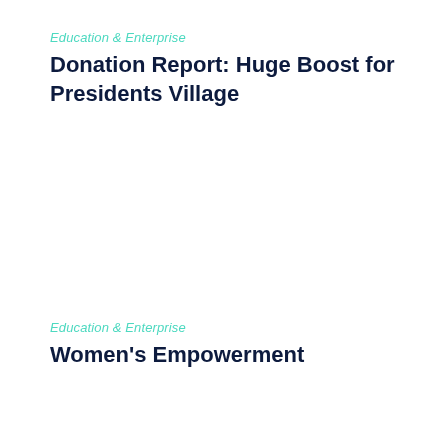Education & Enterprise
Donation Report: Huge Boost for Presidents Village
Education & Enterprise
Women's Empowerment